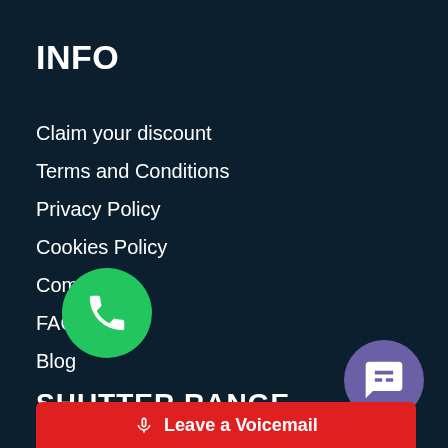INFO
Claim your discount
Terms and Conditions
Privacy Policy
Cookies Policy
Complaints
FAQs
Blog
[Figure (illustration): Green circular phone call button overlay]
SHUTTER RANGE
Antigua Shutters
[Figure (illustration): Purple circular chat/voicemail button in bottom right corner]
Leave a Voicemail